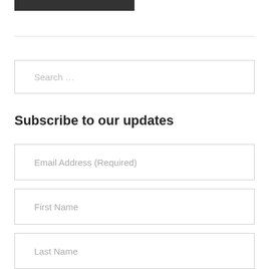[Figure (other): Dark/black rectangular bar at top left]
Search …
Subscribe to our updates
Email Address (Required)
First Name
Last Name
Subscribe